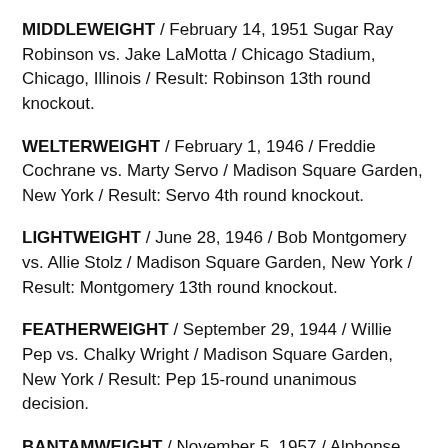MIDDLEWEIGHT / February 14, 1951 Sugar Ray Robinson vs. Jake LaMotta / Chicago Stadium, Chicago, Illinois / Result: Robinson 13th round knockout.
WELTERWEIGHT / February 1, 1946 / Freddie Cochrane vs. Marty Servo / Madison Square Garden, New York / Result: Servo 4th round knockout.
LIGHTWEIGHT / June 28, 1946 / Bob Montgomery vs. Allie Stolz / Madison Square Garden, New York / Result: Montgomery 13th round knockout.
FEATHERWEIGHT / September 29, 1944 / Willie Pep vs. Chalky Wright / Madison Square Garden, New York / Result: Pep 15-round unanimous decision.
BANTAMWEIGHT / November 5, 1957 / Alphonse Halimi vs. Raton Macias / Wrigley Field, Los Angeles, California / Result: Halimi 15-round unanimous decision.